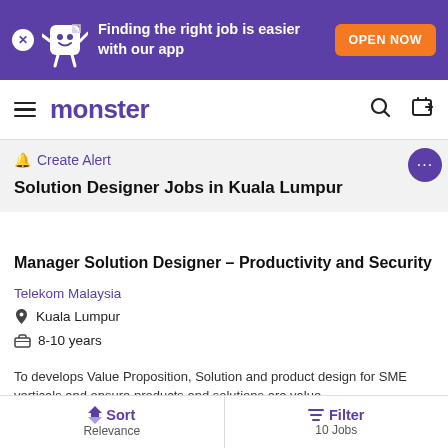[Figure (screenshot): Monster job portal app promotion banner with mascot character, text 'Finding the right job is easier with our app' and orange 'OPEN NOW' button]
monster
🔔 Create Alert
Solution Designer Jobs in Kuala Lumpur
Manager Solution Designer – Productivity and Security
Telekom Malaysia
Kuala Lumpur
8-10 years
To develops Value Proposition, Solution and product design for SME verticals and ensure products and solutions are value
Sort Relevance | Filter 10 Jobs